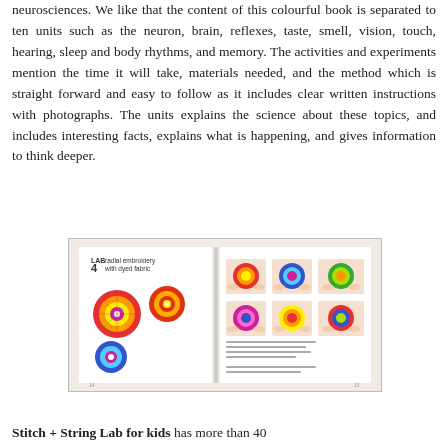neurosciences. We like that the content of this colourful book is separated to ten units such as the neuron, brain, reflexes, taste, smell, vision, touch, hearing, sleep and body rhythms, and memory. The activities and experiments mention the time it will take, materials needed, and the method which is straight forward and easy to follow as it includes clear written instructions with photographs. The units explains the science about these topics, and includes interesting facts, explains what is happening, and gives information to think deeper.
[Figure (photo): Open book spread showing Lab 4: radial embroidery with dyed fabric, featuring colorful circular embroidery designs on the left page and step-by-step photographs on the right page.]
Stitch + String Lab for kids has more than 40